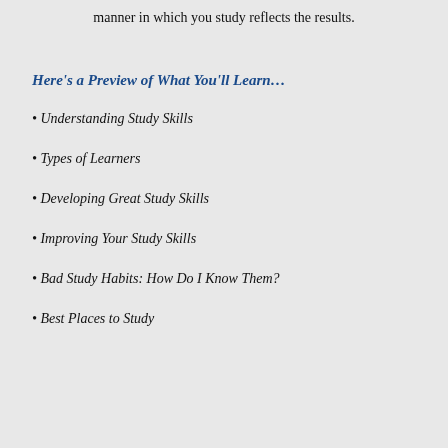manner in which you study reflects the results.
Here's a Preview of What You'll Learn…
• Understanding Study Skills
• Types of Learners
• Developing Great Study Skills
• Improving Your Study Skills
• Bad Study Habits: How Do I Know Them?
• Best Places to Study